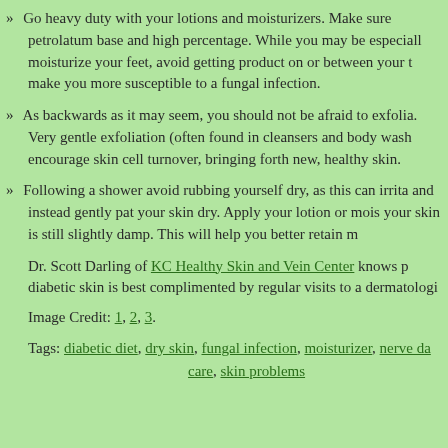Go heavy duty with your lotions and moisturizers. Make sure petrolatum base and high percentage. While you may be especially moisturize your feet, avoid getting product on or between your to make you more susceptible to a fungal infection.
As backwards as it may seem, you should not be afraid to exfolia. Very gentle exfoliation (often found in cleansers and body wash encourage skin cell turnover, bringing forth new, healthy skin.
Following a shower avoid rubbing yourself dry, as this can irrita and instead gently pat your skin dry. Apply your lotion or mois your skin is still slightly damp. This will help you better retain me
Dr. Scott Darling of KC Healthy Skin and Vein Center knows pr diabetic skin is best complimented by regular visits to a dermatologi
Image Credit: 1, 2, 3.
Tags: diabetic diet, dry skin, fungal infection, moisturizer, nerve da care, skin problems